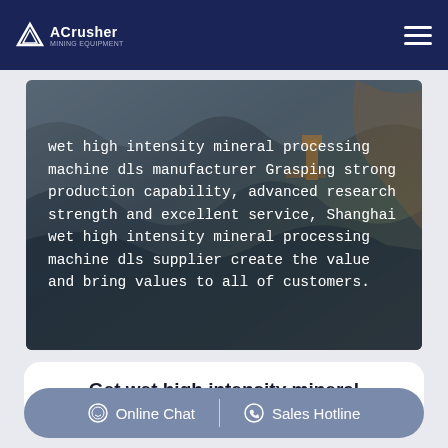ACrusher Mining Equipment
[Figure (photo): Aerial view of an open-pit mining site with heavy machinery and rocky terrain]
wet high intensity mineral processing machine dls manufacturer Grasping strong production capability, advanced research strength and excellent service, Shanghai wet high intensity mineral processing machine dls supplier create the value and bring values to all of customers.
Get wet high intensity mineral
Online Chat | Sales Hotline